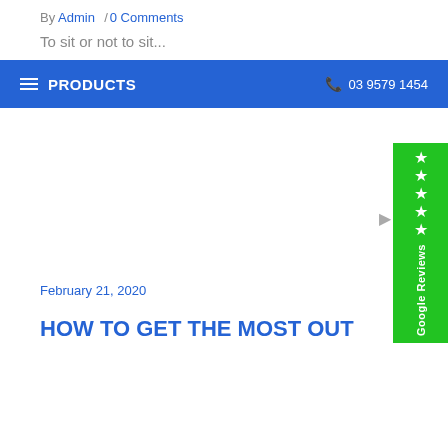By Admin /0 Comments
To sit or not to sit...
≡ PRODUCTS   📞 03 9579 1454
February 21, 2020
HOW TO GET THE MOST OUT